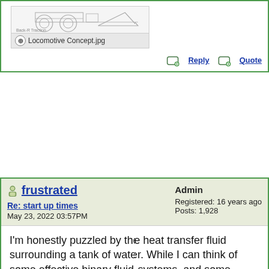[Figure (screenshot): Partial view of an attachment thumbnail showing a locomotive concept sketch drawing, labeled 'Locomotive Concept.jpg' with a zoom icon]
Reply   Quote
frustrated
Re: start up times
May 23, 2022 03:57PM
Admin
Registered: 16 years ago
Posts: 1,928
I'm honestly puzzled by the heat transfer fluid surrounding a tank of water. While I can think of some effective binary fluid systems, and some systems with water heated by water, none of them seem to fit the bill. In any case, producing steam without later adding more heat to raise the steam temperature well into the superheat region will not allow the builder to fabricate an engine capable of any kind of efficiency.
Most steam car boilers operate in the 70 to 85 percent efficiency range, which actually isn't too bad. To increase the efficiency would require cooling the exhaust to a temperature lower than the surrounding air ...